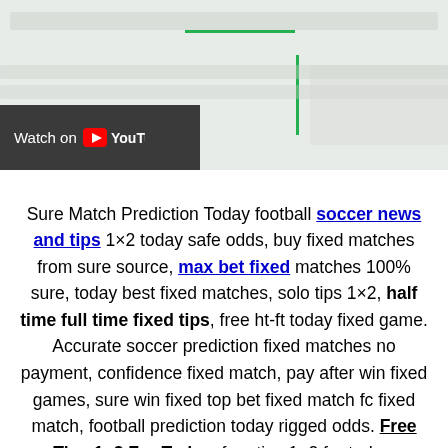[Figure (screenshot): YouTube video thumbnail/player area with green lines (horizontal and vertical) overlaid on a light gray background, with a dark 'Watch on YouTube' button overlay in the bottom-left]
Sure Match Prediction Today football soccer news and tips 1×2 today safe odds, buy fixed matches from sure source, max bet fixed matches 100% sure, today best fixed matches, solo tips 1×2, half time full time fixed tips, free ht-ft today fixed game. Accurate soccer prediction fixed matches no payment, confidence fixed match, pay after win fixed games, sure win fixed top bet fixed match fc fixed match, football prediction today rigged odds. Free Tips 1×2 For Today, free tips 1×2 for today, prediction today 1×2, today football match prediction 100 sure, soccer fixed games, super fixed matches. Sure fixed